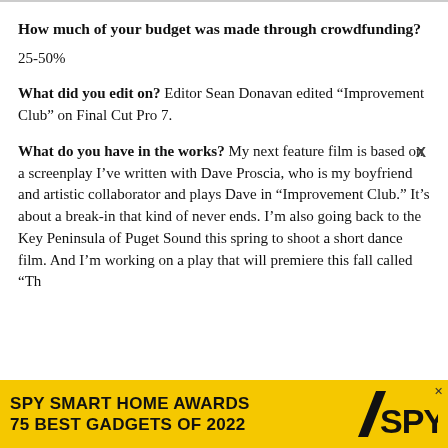How much of your budget was made through crowdfunding?
25-50%
What did you edit on? Editor Sean Donavan edited “Improvement Club” on Final Cut Pro 7.
What do you have in the works? My next feature film is based on a screenplay I’ve written with Dave Proscia, who is my boyfriend and artistic collaborator and plays Dave in “Improvement Club.” It’s about a break-in that kind of never ends. I’m also going back to the Key Peninsula of Puget Sound this spring to shoot a short dance film. And I’m working on a play that will premiere this fall called “Th…
[Figure (infographic): Yellow advertisement banner: SPY SMART HOME AWARDS / 75 BEST GADGETS OF 2022 with SPY logo]